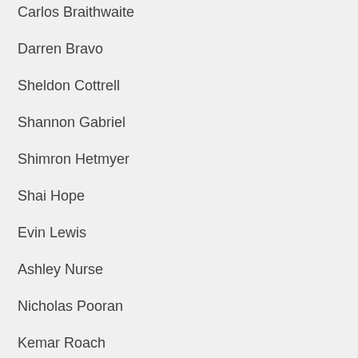Carlos Braithwaite
Darren Bravo
Sheldon Cottrell
Shannon Gabriel
Shimron Hetmyer
Shai Hope
Evin Lewis
Ashley Nurse
Nicholas Pooran
Kemar Roach
Andre Russell